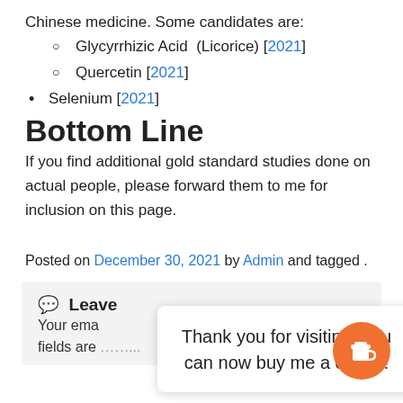Chinese medicine. Some candidates are:
Glycyrrhizic Acid (Licorice) [2021]
Quercetin [2021]
Selenium [2021]
Bottom Line
If you find additional gold standard studies done on actual people, please forward them to me for inclusion on this page.
Posted on December 30, 2021 by Admin and tagged .
💬 Leave
Your ema... qui fields are marked...
Thank you for visiting. You can now buy me a coffee!